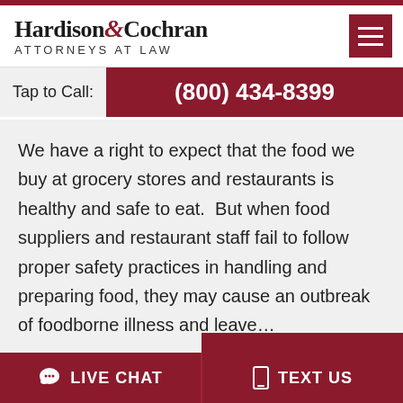[Figure (logo): Hardison & Cochran Attorneys at Law logo with stylized ampersand in dark red]
Tap to Call:  (800) 434-8399
We have a right to expect that the food we buy at grocery stores and restaurants is healthy and safe to eat.  But when food suppliers and restaurant staff fail to follow proper safety practices in handling and preparing food, they may cause an outbreak of foodborne illness and leave…
LIVE CHAT   TEXT US